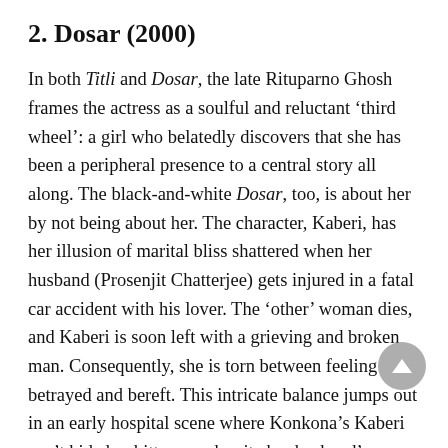2. Dosar (2000)
In both Titli and Dosar, the late Rituparno Ghosh frames the actress as a soulful and reluctant ‘third wheel’: a girl who belatedly discovers that she has been a peripheral presence to a central story all along. The black-and-white Dosar, too, is about her by not being about her. The character, Kaberi, has her illusion of marital bliss shattered when her husband (Prosenjit Chatterjee) gets injured in a fatal car accident with his lover. The ‘other’ woman dies, and Kaberi is soon left with a grieving and broken man. Consequently, she is torn between feeling betrayed and bereft. This intricate balance jumps out in an early hospital scene where Konkona’s Kaberi can’t hide her bitterness despite her husband’s precarious condition. Her tone becomes sarcastic and caustic